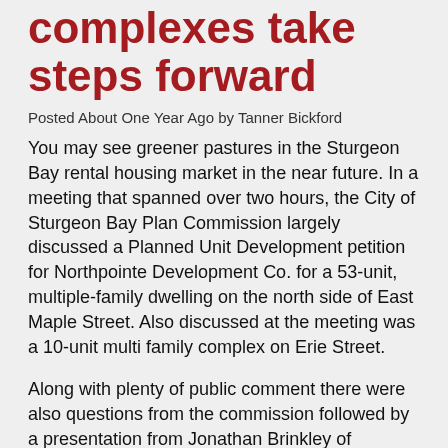complexes take steps forward
Posted About One Year Ago by Tanner Bickford
You may see greener pastures in the Sturgeon Bay rental housing market in the near future. In a meeting that spanned over two hours, the City of Sturgeon Bay Plan Commission largely discussed a Planned Unit Development petition for Northpointe Development Co. for a 53-unit, multiple-family dwelling on the north side of East Maple Street. Also discussed at the meeting was a 10-unit multi family complex on Erie Street.
Along with plenty of public comment there were also questions from the commission followed by a presentation from Jonathan Brinkley of Northpointe Development detailing the concept of the proposed 53-unit complex. City of Sturgeon Bay Alderperson Kirstin Reeths also brought up the possibility of Sturgeon Bay housing to...